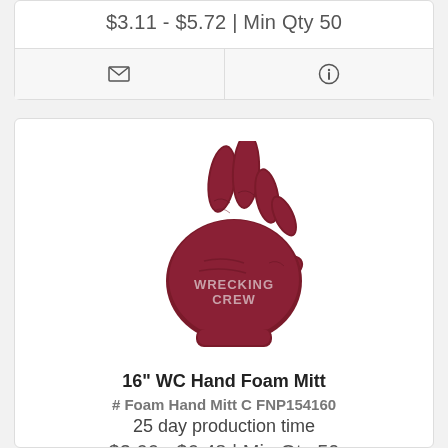$3.11 - $5.72 | Min Qty 50
[Figure (illustration): Dark red foam hand mitt shaped like a 'Wrecking Crew' hand sign with text WRECKING CREW on the palm]
16" WC Hand Foam Mitt
# Foam Hand Mitt C FNP154160
25 day production time
$3.66 - $6.48 | Min Qty 50